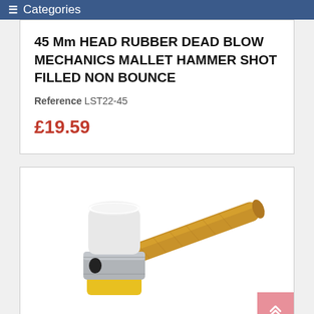Categories
45 Mm HEAD RUBBER DEAD BLOW MECHANICS MALLET HAMMER SHOT FILLED NON BOUNCE
Reference LST22-45
£19.59
[Figure (photo): A rubber dead blow mechanics mallet hammer with a white top face, silver/steel metal band in the middle, yellow rubber bottom face, and a long wooden handle extending to the right. The mallet head has a round hole visible in the steel band section.]